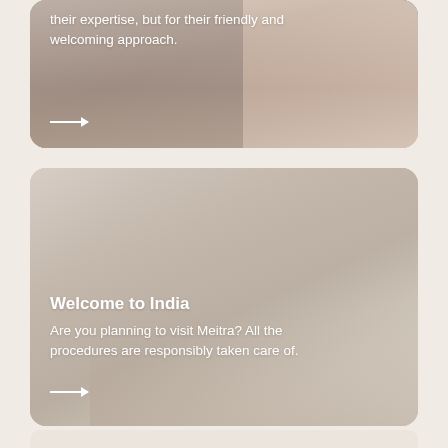[Figure (photo): Top card: photo of a medical consultation scene with two people, partially visible, with text overlay showing partial sentence about expertise and welcoming approach, plus an arrow icon]
their expertise, but for their friendly and welcoming approach.
[Figure (photo): Bottom card: photo of two people shaking hands in a light, airy setting, with text overlay reading 'Welcome to India' and description about Meitra procedures]
Welcome to India
Are you planning to visit Meitra? All the procedures are responsibly taken care of.